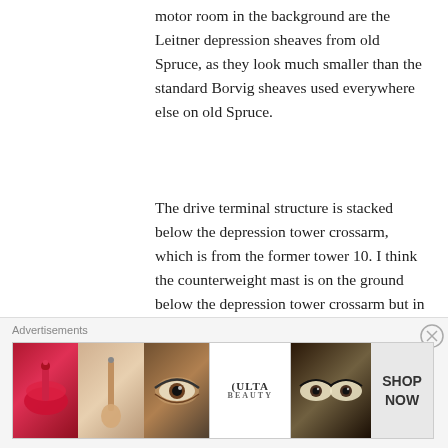motor room in the background are the Leitner depression sheaves from old Spruce, as they look much smaller than the standard Borvig sheaves used everywhere else on old Spruce.
The drive terminal structure is stacked below the depression tower crossarm, which is from the former tower 10. I think the counterweight mast is on the ground below the depression tower crossarm but in front of the terminal structure. The grips are piled to the left of the depression crossarm. I count 8 crossarms and lifting frames to the right,
Advertisements
[Figure (photo): Ulta Beauty advertisement banner showing cosmetic imagery including lips with lipstick, a makeup brush, an eye with makeup, the Ulta logo, eyes with dramatic makeup, and a 'Shop Now' call to action.]